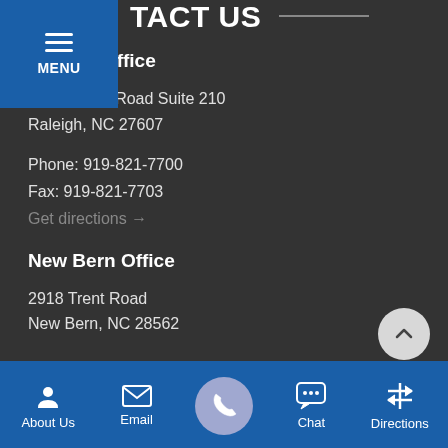CONTACT US
Raleigh Office
5410 Trinity Road Suite 210
Raleigh, NC 27607
Phone: 919-821-7700
Fax: 919-821-7703
Get directions →
New Bern Office
2918 Trent Road
New Bern, NC 28562
About Us  Email  Chat  Directions